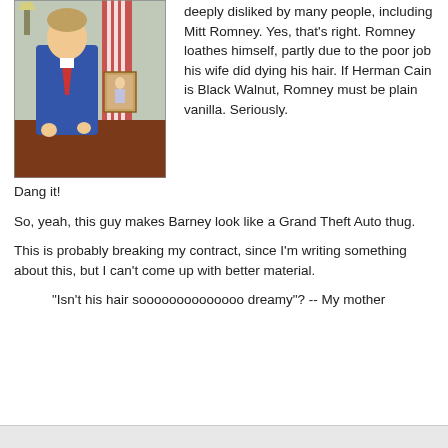[Figure (photo): Official portrait painting of a man in a blue suit seated at a desk with an American flag and a framed photo in the background]
deeply disliked by many people, including Mitt Romney. Yes, that's right. Romney loathes himself, partly due to the poor job his wife did dying his hair. If Herman Cain is Black Walnut, Romney must be plain vanilla. Seriously. Dang it!
So, yeah, this guy makes Barney look like a Grand Theft Auto thug.
This is probably breaking my contract, since I'm writing something about this, but I can't come up with better material.
"Isn't his hair soooooooooooooo dreamy"? -- My mother